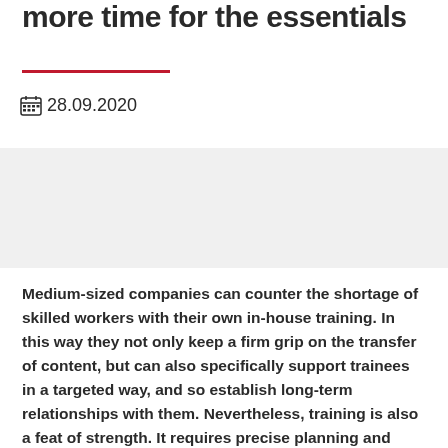more time for the essentials
28.09.2020
[Figure (other): Gray banner/image placeholder area]
Medium-sized companies can counter the shortage of skilled workers with their own in-house training. In this way they not only keep a firm grip on the transfer of content, but can also specifically support trainees in a targeted way, and so establish long-term relationships with them. Nevertheless, training is also a feat of strength. It requires precise planning and coordination. Software for planning the training is perfect for reducing